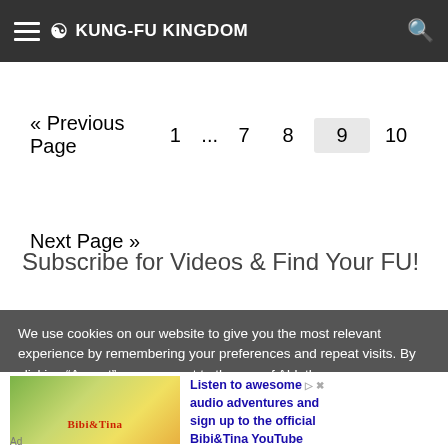KUNG-FU KINGDOM
« Previous Page  1  ...  7  8  9  10
Next Page »
Subscribe for Videos & Find Your FU!
We use cookies on our website to give you the most relevant experience by remembering your preferences and repeat visits. By clicking "Accept", you consent to the use of ALL the
[Figure (screenshot): Advertisement banner for Bibi&Tina YouTube Channel with animated image on left and text 'Listen to awesome audio adventures and sign up to the official Bibi&Tina YouTube Channel.' on right]
Ad